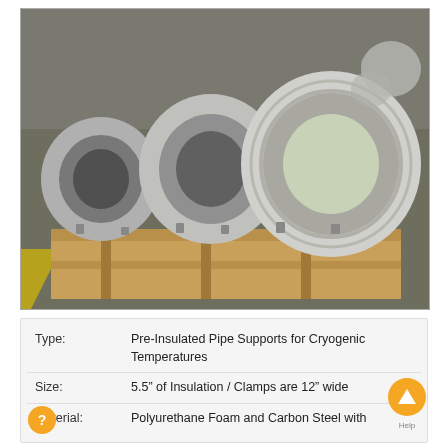[Figure (photo): Large industrial pre-insulated pipe supports for cryogenic temperatures — multiple cylindrical insulated pipe clamps with gray metal shells and green foam visible inside, mounted on wooden pallets on a warehouse floor.]
| Type: | Pre-Insulated Pipe Supports for Cryogenic Temperatures |
| Size: | 5.5" of Insulation / Clamps are 12" wide |
| Material: | Polyurethane Foam and Carbon Steel with |